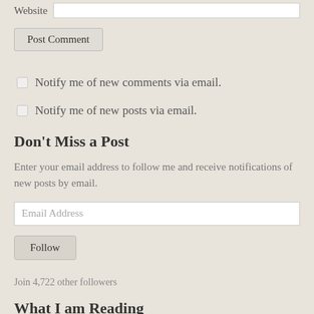Website [input field]
Post Comment
Notify me of new comments via email.
Notify me of new posts via email.
Don't Miss a Post
Enter your email address to follow me and receive notifications of new posts by email.
Email Address [input field]
Follow
Join 4,722 other followers
What I am Reading